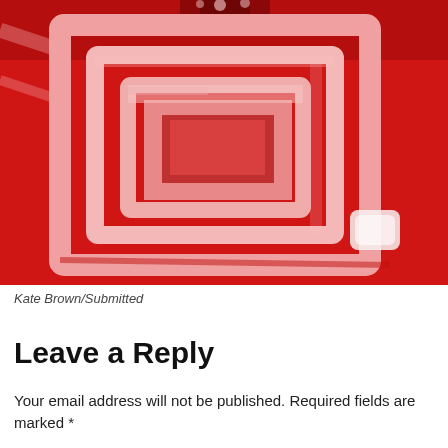[Figure (photo): An abstract painting with a vivid red background and a central rectangular spiral form painted in lighter pink/salmon tones, with thick brushstrokes and textured paint application.]
Kate Brown/Submitted
Leave a Reply
Your email address will not be published. Required fields are marked *